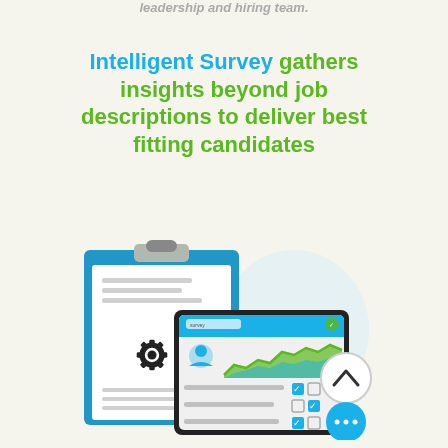leadership and hiring team.
Intelligent Survey gathers insights beyond job descriptions to deliver best fitting candidates
[Figure (illustration): Illustration showing a clipboard with a survey/document and a gear icon, behind a tablet device displaying a dashboard with a line chart (green and blue area chart) and checkboxes. A circular navigation button with an upward chevron and a blue circle with three dots are shown to the right.]